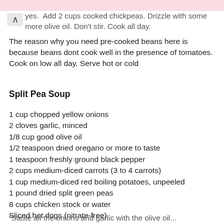yes. Add 2 cups cooked chickpeas. Drizzle with some more olive oil. Don't stir. Cook all day. The reason why you need pre-cooked beans here is because beans dont cook well in the presence of tomatoes. Cook on low all day. Serve hot or cold
Split Pea Soup
1 cup chopped yellow onions
2 cloves garlic, minced
1/8 cup good olive oil
1/2 teaspoon dried oregano or more to taste
1 teaspoon freshly ground black pepper
2 cups medium-diced carrots (3 to 4 carrots)
1 cup medium-diced red boiling potatoes, unpeeled
1 pound dried split green peas
8 cups chicken stock or water
Sliced hot dogs (nitrate-free)
Optional: celery, bay leaves, parsley
1-1/2 teaspoons coarse salt before serving
"Sauté all the onions and garlic with the olive oil...